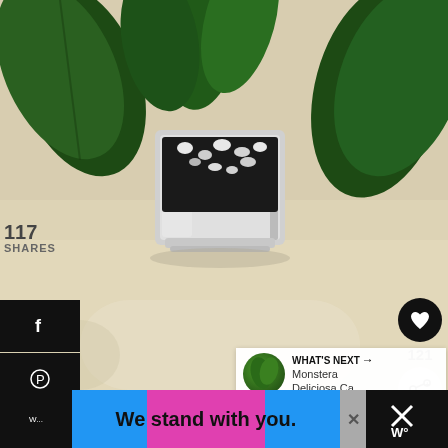[Figure (photo): A green leafy plant in a small white square pot with black soil and white pebbles, sitting on a light wooden surface. The image is partially blurred/bokeh in the lower portion.]
117
SHARES
[Figure (infographic): Left social sharing sidebar with icons: Facebook (f), Pinterest (pin), Twitter, Email (envelope), Print (printer) — all on black backgrounds.]
[Figure (infographic): Right side action buttons: heart/like button (dark circle) with count 121 below, and a share button (light circle with share icon).]
WHAT'S NEXT → Monstera Deliciosa Ca...
What about water and so...
We stand with you.
an dry.